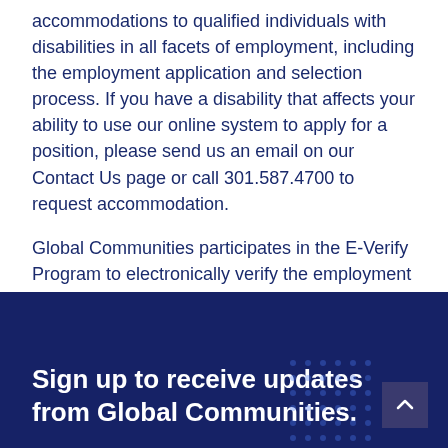accommodations to qualified individuals with disabilities in all facets of employment, including the employment application and selection process. If you have a disability that affects your ability to use our online system to apply for a position, please send us an email on our Contact Us page or call 301.587.4700 to request accommodation.
Global Communities participates in the E-Verify Program to electronically verify the employment eligibility of newly hired employees.
Sign up to receive updates from Global Communities.